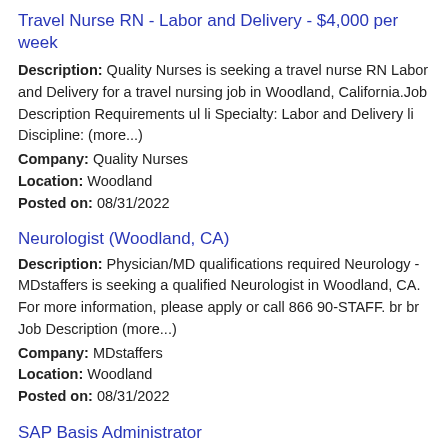Travel Nurse RN - Labor and Delivery - $4,000 per week
Description: Quality Nurses is seeking a travel nurse RN Labor and Delivery for a travel nursing job in Woodland, California.Job Description Requirements ul li Specialty: Labor and Delivery li Discipline: (more...)
Company: Quality Nurses
Location: Woodland
Posted on: 08/31/2022
Neurologist (Woodland, CA)
Description: Physician/MD qualifications required Neurology - MDstaffers is seeking a qualified Neurologist in Woodland, CA. For more information, please apply or call 866 90-STAFF. br br Job Description (more...)
Company: MDstaffers
Location: Woodland
Posted on: 08/31/2022
SAP Basis Administrator
Description: Who We Are The Raley's Companies is a private, family-owned, and purpose-driven retail company headquartered in West Sacramento, CA. Since our founding in 1935, our store operations